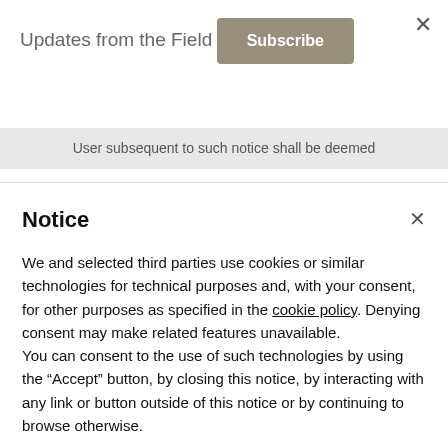Updates from the Field
Subscribe
User subsequent to such notice shall be deemed
Notice
We and selected third parties use cookies or similar technologies for technical purposes and, with your consent, for other purposes as specified in the cookie policy. Denying consent may make related features unavailable.
You can consent to the use of such technologies by using the “Accept” button, by closing this notice, by interacting with any link or button outside of this notice or by continuing to browse otherwise.
Accept